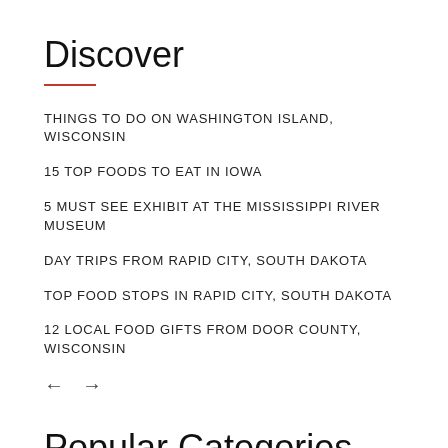Discover
THINGS TO DO ON WASHINGTON ISLAND, WISCONSIN
15 TOP FOODS TO EAT IN IOWA
5 MUST SEE EXHIBIT AT THE MISSISSIPPI RIVER MUSEUM
DAY TRIPS FROM RAPID CITY, SOUTH DAKOTA
TOP FOOD STOPS IN RAPID CITY, SOUTH DAKOTA
12 LOCAL FOOD GIFTS FROM DOOR COUNTY, WISCONSIN
Popular Categories